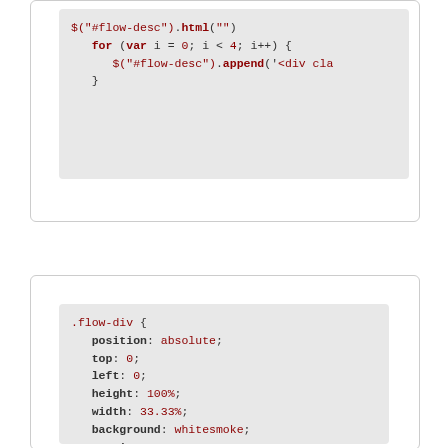[Figure (screenshot): Code snippet showing JavaScript: $('#flow-desc').html('') followed by a for loop: for (var i = 0; i < 4; i++) { $('#flow-desc').append('<div cla...) }]
[Figure (screenshot): CSS code block showing .flow-div { position: absolute; top: 0; left: 0; height: 100%; width: 33.33%; background: whitesmoke; opacity: 1; } .wrapper { position: relative; margin: 20px; height: fit-content; background: white; border-radius: 10px; (cut off)]